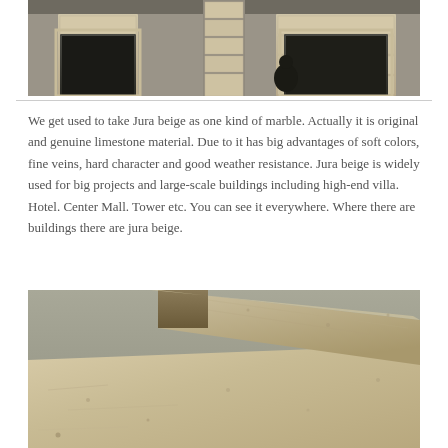[Figure (photo): Photograph of a building exterior showing stone-clad columns and doorways with beige/cream Jura limestone cladding panels, architectural facade detail.]
We get used to take Jura beige as one kind of marble. Actually it is original and genuine limestone material. Due to it has big advantages of soft colors, fine veins, hard character and good weather resistance. Jura beige is widely used for big projects and large-scale buildings including high-end villa. Hotel. Center Mall. Tower etc. You can see it everywhere. Where there are buildings there are jura beige.
[Figure (photo): Close-up photograph of Jura beige limestone slabs showing the texture and surface detail of the stone material, with one slab slightly elevated at an angle.]